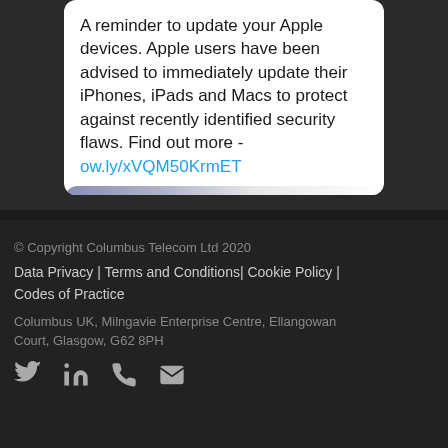A reminder to update your Apple devices. Apple users have been advised to immediately update their iPhones, iPads and Macs to protect against recently identified security flaws. Find out more here - ow.ly/xVQM50KrmET
© Copyright Columbus Telecom Ltd 2020
Data Privacy | Terms and Conditions | Cookie Policy | Codes of Practice
Columbus UK, Milngavie Enterprise Centre, Ellangowan Court, Glasgow, G62 8PH